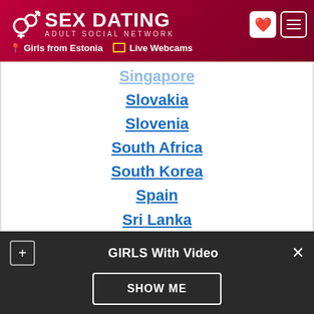SEX DATING ADULT SOCIAL NETWORK | Girls from Estonia | Live Webcams
Singapore
Slovakia
Slovenia
South Africa
South Korea
Spain
Sri Lanka
Sweden
Switzerland
Taiwan
Thailand
Turkey
United Arab Emirates
GIRLS With Video
SHOW ME